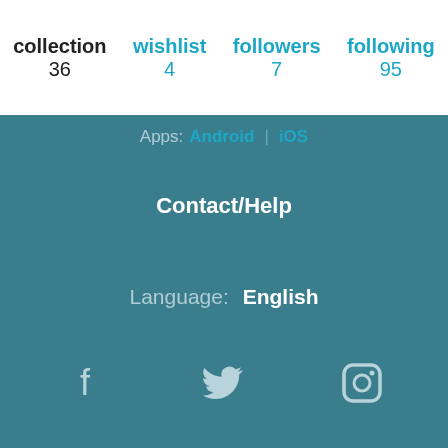collection 36 | wishlist 4 | followers 7 | following 95
Apps: Android | iOS
Contact/Help
Language: English
[Figure (other): Social media icons: Facebook, Twitter, Instagram]
Fair Trade Music Policy
Terms of Use | Privacy | Copyright Policy
bandcamp | Switch to desktop version